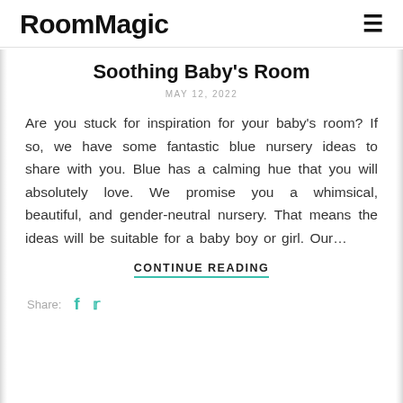RoomMagic
Soothing Baby’s Room
MAY 12, 2022
Are you stuck for inspiration for your baby’s room? If so, we have some fantastic blue nursery ideas to share with you. Blue has a calming hue that you will absolutely love. We promise you a whimsical, beautiful, and gender-neutral nursery. That means the ideas will be suitable for a baby boy or girl. Our…
CONTINUE READING
Share: